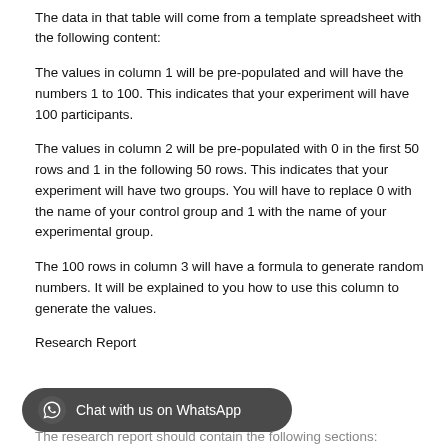Column 2: Group
Column 3: Dependent variable
The data in that table will come from a template spreadsheet with the following content:
The values in column 1 will be pre-populated and will have the numbers 1 to 100. This indicates that your experiment will have 100 participants.
The values in column 2 will be pre-populated with 0 in the first 50 rows and 1 in the following 50 rows. This indicates that your experiment will have two groups. You will have to replace 0 with the name of your control group and 1 with the name of your experimental group.
The 100 rows in column 3 will have a formula to generate random numbers. It will be explained to you how to use this column to generate the values.
Research Report
The research report should contain the following sections: